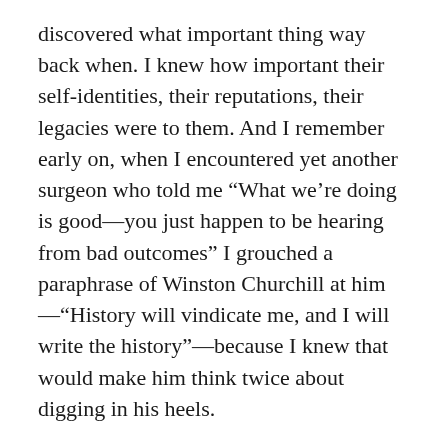discovered what important thing way back when. I knew how important their self-identities, their reputations, their legacies were to them. And I remember early on, when I encountered yet another surgeon who told me “What we’re doing is good—you just happen to be hearing from bad outcomes” I grouched a paraphrase of Winston Churchill at him—“History will vindicate me, and I will write the history”—because I knew that would make him think twice about digging in his heels.
Another reason I should have figured it out is because my self-identity is wrapped up in my work too, and of course it is hard for me to believe that my well-intentioned efforts might be misplaced or